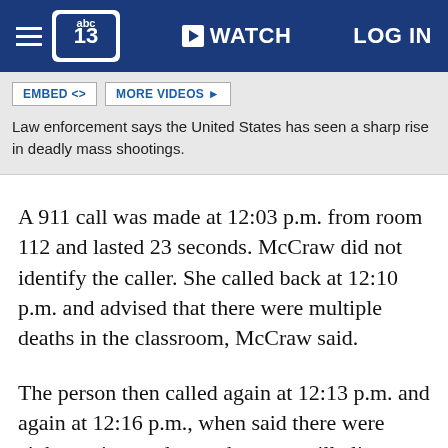abc13 WATCH LOG IN
EMBED <> MORE VIDEOS ▶
Law enforcement says the United States has seen a sharp rise in deadly mass shootings.
A 911 call was made at 12:03 p.m. from room 112 and lasted 23 seconds. McCraw did not identify the caller. She called back at 12:10 p.m. and advised that there were multiple deaths in the classroom, McCraw said.
The person then called again at 12:13 p.m. and again at 12:16 p.m., when said there were eight to nine students who were still alive, McCraw said. A call was made by someone else from room 111 at 12:19 p.m., the caller hung up when another student told her